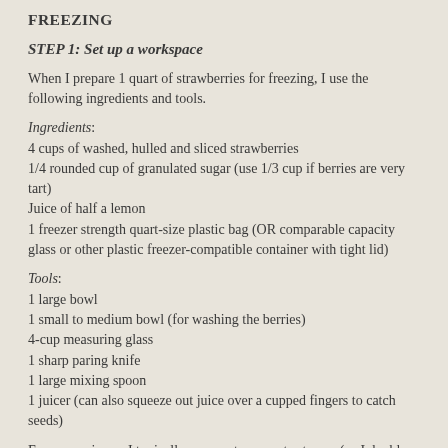FREEZING
STEP 1: Set up a workspace
When I prepare 1 quart of strawberries for freezing, I use the following ingredients and tools.
Ingredients:
4 cups of washed, hulled and sliced strawberries
1/4 rounded cup of granulated sugar (use 1/3 cup if berries are very tart)
Juice of half a lemon
1 freezer strength quart-size plastic bag (OR comparable capacity glass or other plastic freezer-compatible container with tight lid)
Tools:
1 large bowl
1 small to medium bowl (for washing the berries)
4-cup measuring glass
1 sharp paring knife
1 large mixing spoon
1 juicer (can also squeeze out juice over a cupped fingers to catch seeds)
For convenience, I typically prepare two quarts at once (so I double the berries, sugar, lemon, and freezer bag). After I've